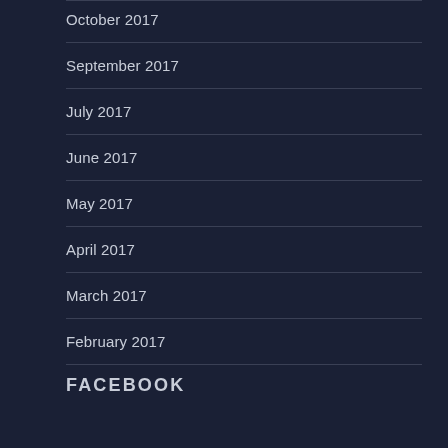October 2017
September 2017
July 2017
June 2017
May 2017
April 2017
March 2017
February 2017
FACEBOOK